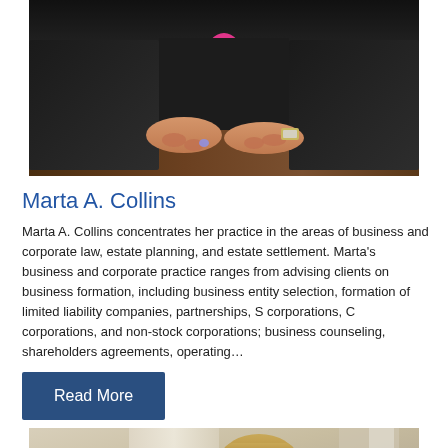[Figure (photo): Professional photo of Marta A. Collins, a woman in a dark suit with hands folded on a desk, wearing a ring and watch]
Marta A. Collins
Marta A. Collins concentrates her practice in the areas of business and corporate law, estate planning, and estate settlement. Marta's business and corporate practice ranges from advising clients on business formation, including business entity selection, formation of limited liability companies, partnerships, S corporations, C corporations, and non-stock corporations; business counseling, shareholders agreements, operating…
Read More
[Figure (photo): Professional photo of a man with blond hair in a light-colored setting]